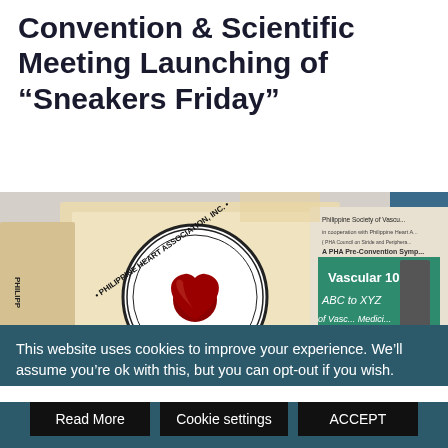Convention & Scientific Meeting Launching of “Sneakers Friday”
[Figure (photo): Photo showing Philippine Heart Association logo/badge in foreground and a banner for 'A PHA Pre-Convention Symposium: Vascular 101 ABC to XYZ of Vascular Medicine' in the background, co-organized with Philippine Society of Vascular Medicine.]
This website uses cookies to improve your experience. We’ll assume you’re ok with this, but you can opt-out if you wish.
Read More
Cookie settings
ACCEPT